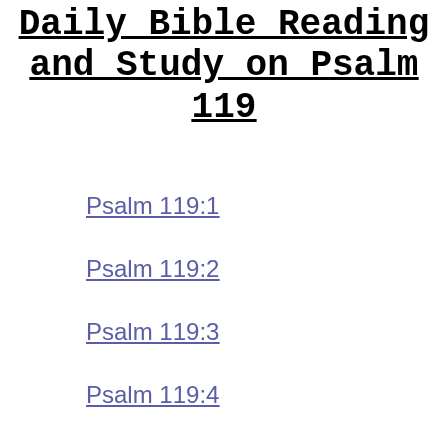Daily Bible Reading and Study on Psalm 119
Psalm 119:1
Psalm 119:2
Psalm 119:3
Psalm 119:4
Psalm 119:5
Psalm 119:6